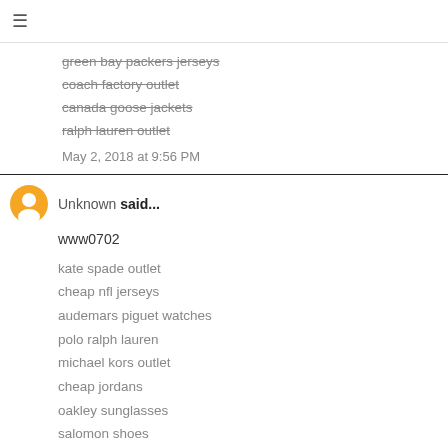≡
green bay packers jerseys
coach factory outlet
canada goose jackets
ralph lauren outlet
May 2, 2018 at 9:56 PM
Unknown said...
www0702
kate spade outlet
cheap nfl jerseys
audemars piguet watches
polo ralph lauren
michael kors outlet
cheap jordans
oakley sunglasses
salomon shoes
polo ralph lauren
cavaliers jerseys